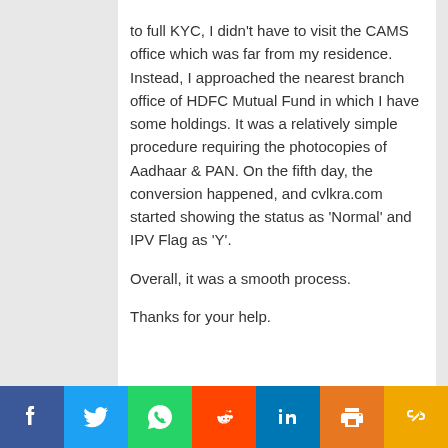to full KYC, I didn't have to visit the CAMS office which was far from my residence. Instead, I approached the nearest branch office of HDFC Mutual Fund in which I have some holdings. It was a relatively simple procedure requiring the photocopies of Aadhaar & PAN. On the fifth day, the conversion happened, and cvlkra.com started showing the status as 'Normal' and IPV Flag as 'Y'.
Overall, it was a smooth process.
Thanks for your help.
[Figure (infographic): Social media share bar with Facebook, Twitter, WhatsApp, Reddit, LinkedIn, Print, and Copy Link buttons]